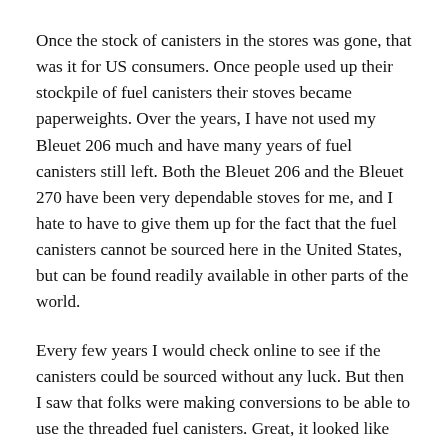Once the stock of canisters in the stores was gone, that was it for US consumers. Once people used up their stockpile of fuel canisters their stoves became paperweights. Over the years, I have not used my Bleuet 206 much and have many years of fuel canisters still left. Both the Bleuet 206 and the Bleuet 270 have been very dependable stoves for me, and I hate to have to give them up for the fact that the fuel canisters cannot be sourced here in the United States, but can be found readily available in other parts of the world.
Every few years I would check online to see if the canisters could be sourced without any luck. But then I saw that folks were making conversions to be able to use the threaded fuel canisters. Great, it looked like my Bleuet 270 might be used again. But this ended up not being the case. I wanted to know how this was done, and it would be cool to use a Camping Gaz stove again.